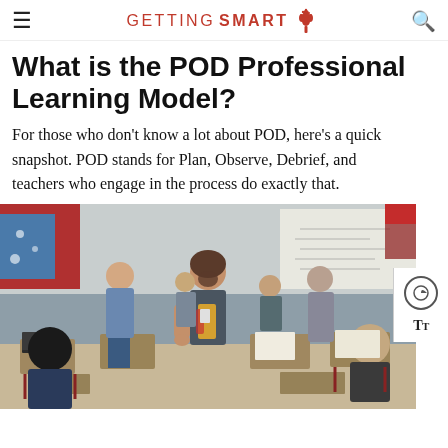GETTING SMART
What is the POD Professional Learning Model?
For those who don’t know a lot about POD, here’s a quick snapshot. POD stands for Plan, Observe, Debrief, and teachers who engage in the process do exactly that.
[Figure (photo): A classroom scene with students seated at desks working on assignments. A female teacher stands in the center of the room. Other students and possibly other teachers are visible in the background near whiteboards with writing on them. The classroom has various educational materials posted on the walls.]